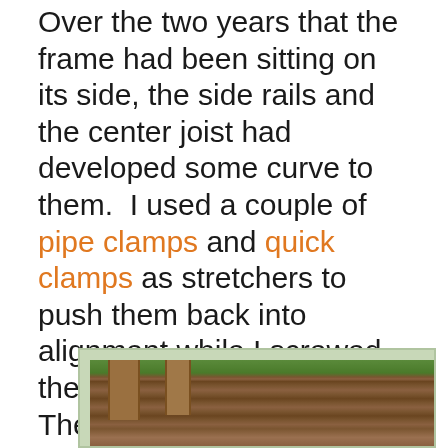Over the two years that the frame had been sitting on its side, the side rails and the center joist had developed some curve to them.  I used a couple of pipe clamps and quick clamps as stretchers to push them back into alignment while I screwed the decking slats in place.  The decking slats held them in place after the clamps were removed.
[Figure (photo): Photograph showing a wooden deck surface with dark brown horizontal slats, two wooden posts/legs visible, and green foliage in the background.]